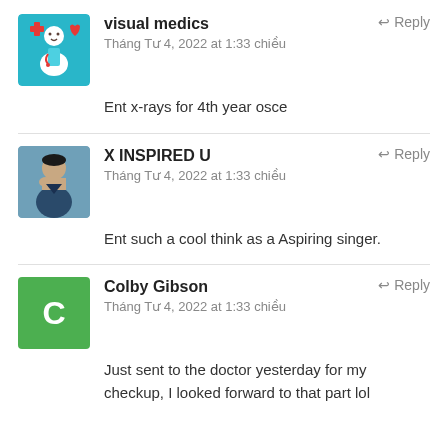visual medics
Tháng Tư 4, 2022 at 1:33 chiều
Ent x-rays for 4th year osce
X INSPIRED U
Tháng Tư 4, 2022 at 1:33 chiều
Ent such a cool think as a Aspiring singer.
Colby Gibson
Tháng Tư 4, 2022 at 1:33 chiều
Just sent to the doctor yesterday for my checkup, I looked forward to that part lol